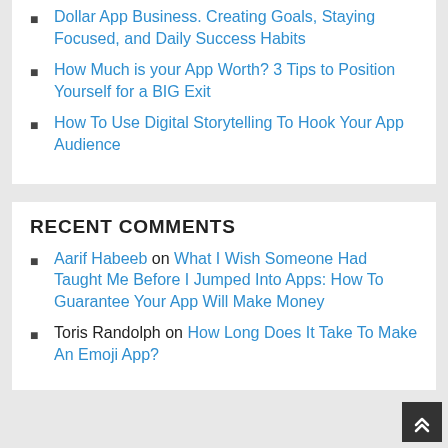Dollar App Business. Creating Goals, Staying Focused, and Daily Success Habits
How Much is your App Worth? 3 Tips to Position Yourself for a BIG Exit
How To Use Digital Storytelling To Hook Your App Audience
RECENT COMMENTS
Aarif Habeeb on What I Wish Someone Had Taught Me Before I Jumped Into Apps: How To Guarantee Your App Will Make Money
Toris Randolph on How Long Does It Take To Make An Emoji App?